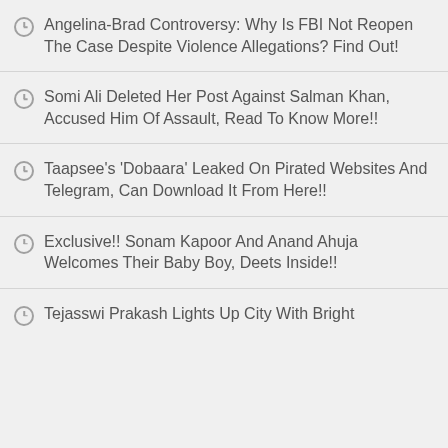Angelina-Brad Controversy: Why Is FBI Not Reopen The Case Despite Violence Allegations? Find Out!
Somi Ali Deleted Her Post Against Salman Khan, Accused Him Of Assault, Read To Know More!!
Taapsee's 'Dobaara' Leaked On Pirated Websites And Telegram, Can Download It From Here!!
Exclusive!! Sonam Kapoor And Anand Ahuja Welcomes Their Baby Boy, Deets Inside!!
Tejasswi Prakash Lights Up City With Bright